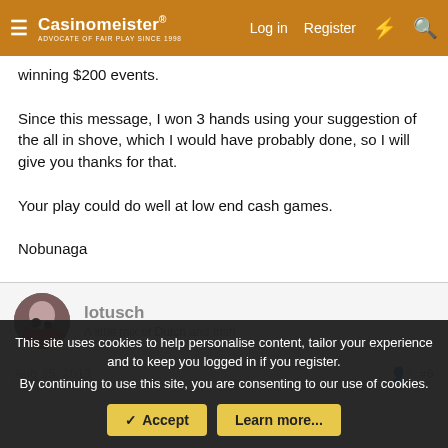Casinomeister® — Log in | Register
winning $200 events.
Since this message, I won 3 hands using your suggestion of the all in shove, which I would have probably done, so I will give you thanks for that.
Your play could do well at low end cash games.
Nobunaga
lotusch
A little mix of Dutch and Irish
Aug 25, 2013 · #6
This site uses cookies to help personalise content, tailor your experience and to keep you logged in if you register. By continuing to use this site, you are consenting to our use of cookies.